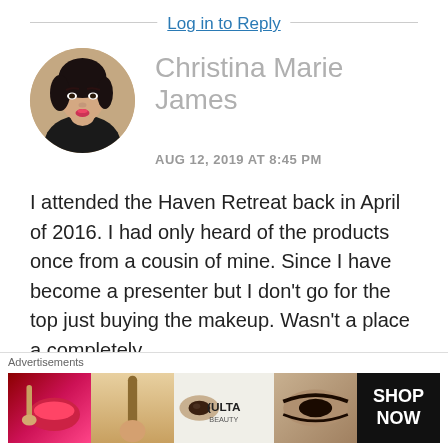Log in to Reply
[Figure (photo): Circular avatar photo of a young woman with dark hair, making a kiss face]
Christina Marie James
AUG 12, 2019 AT 8:45 PM
I attended the Haven Retreat back in April of 2016. I had only heard of the products once from a cousin of mine. Since I have become a presenter but I don't go for the top just buying the makeup. Wasn't a place a completely
[Figure (advertisement): Ulta Beauty advertisement banner with makeup images and SHOP NOW call to action]